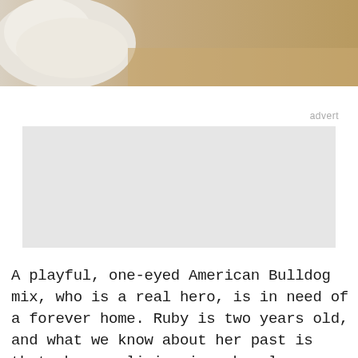[Figure (photo): Top portion of a white and tan dog (American Bulldog mix) lying on sandy/dirt ground, partial view showing the dog's body and background.]
advert
[Figure (other): Advertisement placeholder box (light gray rectangle).]
A playful, one-eyed American Bulldog mix, who is a real hero, is in need of a forever home. Ruby is two years old, and what we know about her past is that she was living in a homeless camp with her owner in San Jose, California, when a tragic accident took her eye. Her owner was attacked by a person with a